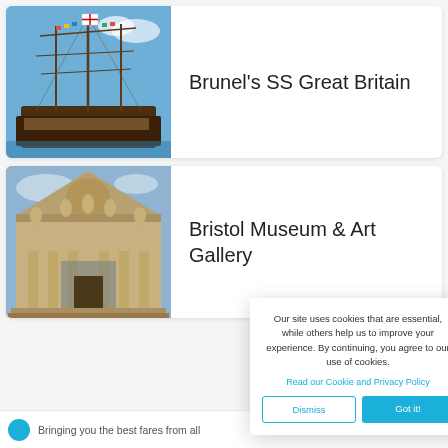[Figure (photo): Photograph of Brunel's SS Great Britain, a tall wooden sailing ship with rigging and flags against a blue sky]
Brunel's SS Great Britain
[Figure (photo): Photograph of Bristol Museum & Art Gallery, a classical stone facade with statues and ornate carvings]
Bristol Museum & Art Gallery
Our site uses cookies that are essential, while others help us to improve your experience. By continuing, you agree to our use of cookies.
Read our Cookie and Privacy Policy
Dismiss
Got it!
Bringing you the best fares from all